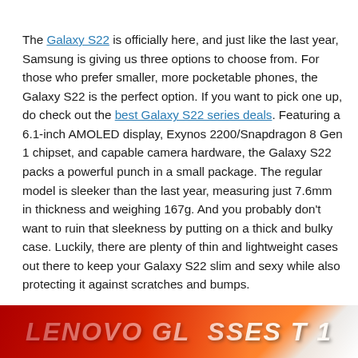The Galaxy S22 is officially here, and just like the last year, Samsung is giving us three options to choose from. For those who prefer smaller, more pocketable phones, the Galaxy S22 is the perfect option. If you want to pick one up, do check out the best Galaxy S22 series deals. Featuring a 6.1-inch AMOLED display, Exynos 2200/Snapdragon 8 Gen 1 chipset, and capable camera hardware, the Galaxy S22 packs a powerful punch in a small package. The regular model is sleeker than the last year, measuring just 7.6mm in thickness and weighing 167g. And you probably don't want to ruin that sleekness by putting on a thick and bulky case. Luckily, there are plenty of thin and lightweight cases out there to keep your Galaxy S22 slim and sexy while also protecting it against scratches and bumps.
[Figure (photo): Red banner image with large white bold italic text reading 'LENOVO GLASSES 1']